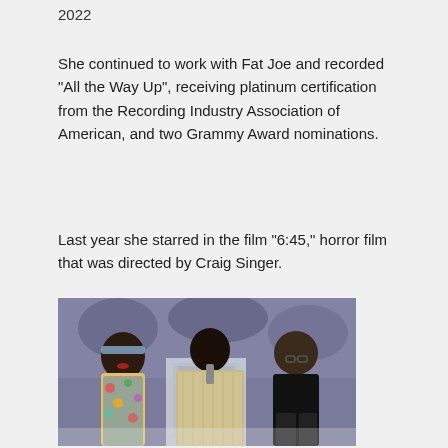2022
She continued to work with Fat Joe and recorded “All the Way Up”, receiving platinum certification from the Recording Industry Association of American, and two Grammy Award nominations.
Last year she starred in the film “6:45,” horror film that was directed by Craig Singer.
[Figure (photo): Three people standing at a podium at an event: a woman in a floral dress on the left, a woman in a shimmery outfit at the podium, and a man in black on the right.]